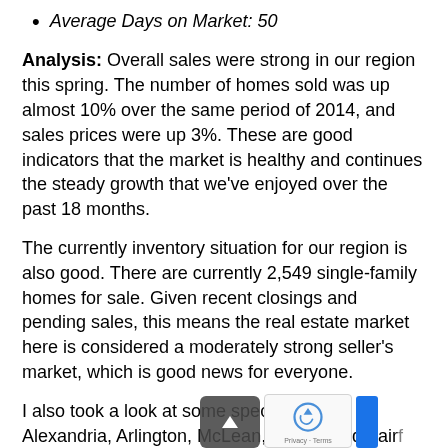Average Days on Market: 50
Analysis: Overall sales were strong in our region this spring. The number of homes sold was up almost 10% over the same period of 2014, and sales prices were up 3%. These are good indicators that the market is healthy and continues the steady growth that we've enjoyed over the past 18 months.
The currently inventory situation for our region is also good. There are currently 2,549 single-family homes for sale. Given recent closings and pending sales, this means the real estate market here is considered a moderately strong seller's market, which is good news for everyone.
I also took a look at some specific areas: Alexandria, Arlington, McLean, Vienna and Fairf... Here are the stats: